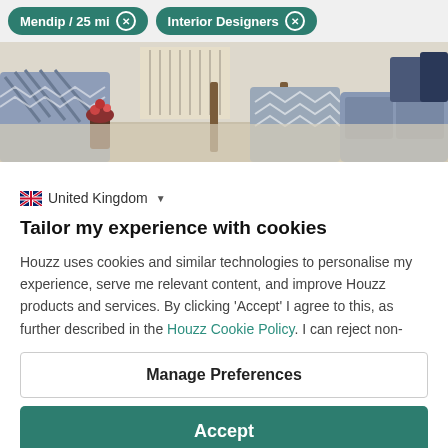Mendip / 25 mi × | Interior Designers ×
[Figure (photo): Interior room photo showing decorated living room with patterned chairs, a sofa, and wooden furniture on a light rug]
🇬🇧 United Kingdom ▼
Tailor my experience with cookies
Houzz uses cookies and similar technologies to personalise my experience, serve me relevant content, and improve Houzz products and services. By clicking 'Accept' I agree to this, as further described in the Houzz Cookie Policy. I can reject non-
Manage Preferences
Accept